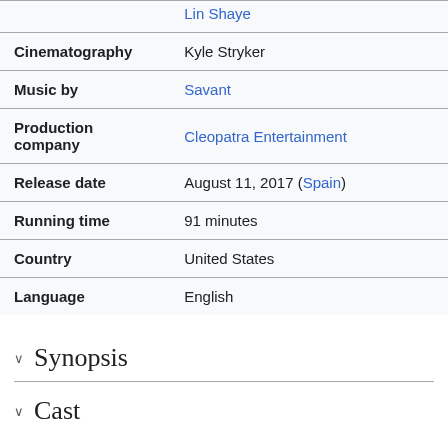| Field | Value |
| --- | --- |
|  | Lin Shaye |
| Cinematography | Kyle Stryker |
| Music by | Savant |
| Production company | Cleopatra Entertainment |
| Release date | August 11, 2017 (Spain) |
| Running time | 91 minutes |
| Country | United States |
| Language | English |
Synopsis
Cast